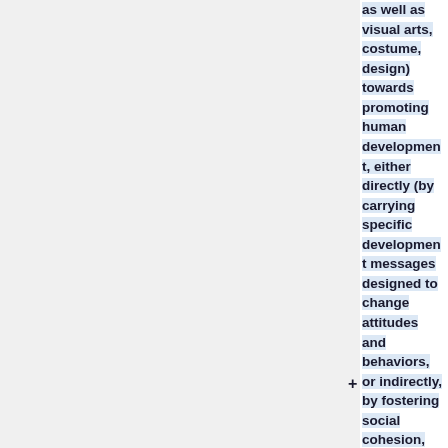as well as visual arts, costume, design) towards promoting human development, either directly (by carrying specific development messages designed to change attitudes and behaviors, or indirectly, by fostering social cohesion, building civil society and strengthening identity &